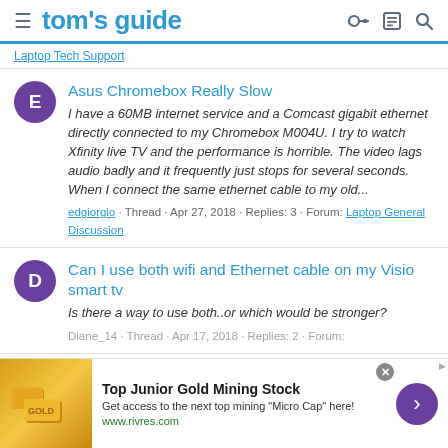tom's guide
Laptop Tech Support
Asus Chromebox Really Slow
I have a 60MB internet service and a Comcast gigabit ethernet directly connected to my Chromebox M004U. I try to watch Xfinity live TV and the performance is horrible. The video lags audio badly and it frequently just stops for several seconds. When I connect the same ethernet cable to my old...
edgiorgio · Thread · Apr 27, 2018 · Replies: 3 · Forum: Laptop General Discussion
Can I use both wifi and Ethernet cable on my Visio smart tv
Is there a way to use both..or which would be stronger?
Diane_14 · Thread · Apr 17, 2018 · Replies: 2 · Forum:
Top Junior Gold Mining Stock – Get access to the next top mining "Micro Cap" here! www.rivres.com